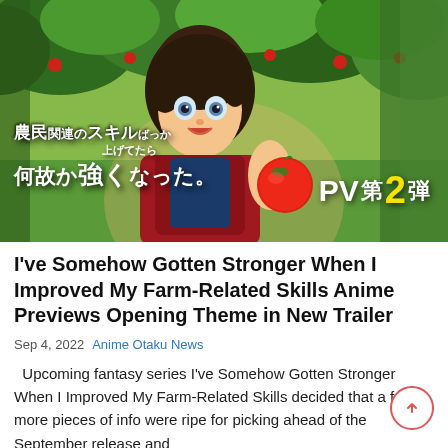[Figure (screenshot): Anime screenshot from 'I've Somehow Gotten Stronger When I Improved My Farm-Related Skills' showing a male anime character with dark hair holding a red tomato, with green farm/orchard background. Japanese text overlay reads farm-related skills title, and a 'PV第2弾' badge appears in the lower right.]
I've Somehow Gotten Stronger When I Improved My Farm-Related Skills Anime Previews Opening Theme in New Trailer
Sep 4, 2022   Anime Otaku News
Upcoming fantasy series I've Somehow Gotten Stronger When I Improved My Farm-Related Skills decided that a few more pieces of info were ripe for picking ahead of the September release and...